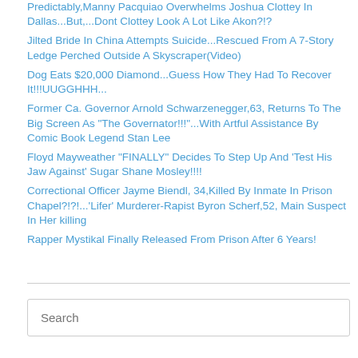Predictably,Manny Pacquiao Overwhelms Joshua Clottey In Dallas...But,...Dont Clottey Look A Lot Like Akon?!?
Jilted Bride In China Attempts Suicide...Rescued From A 7-Story Ledge Perched Outside A Skyscraper(Video)
Dog Eats $20,000 Diamond...Guess How They Had To Recover It!!!UUGGHHH...
Former Ca. Governor Arnold Schwarzenegger,63, Returns To The Big Screen As "The Governator!!!"...With Artful Assistance By Comic Book Legend Stan Lee
Floyd Mayweather "FINALLY" Decides To Step Up And 'Test His Jaw Against' Sugar Shane Mosley!!!!
Correctional Officer Jayme Biendl, 34,Killed By Inmate In Prison Chapel?!?!...'Lifer' Murderer-Rapist Byron Scherf,52, Main Suspect In Her killing
Rapper Mystikal Finally Released From Prison After 6 Years!